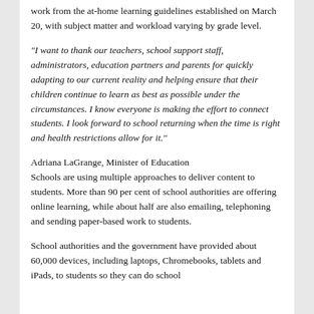work from the at-home learning guidelines established on March 20, with subject matter and workload varying by grade level.
“I want to thank our teachers, school support staff, administrators, education partners and parents for quickly adapting to our current reality and helping ensure that their children continue to learn as best as possible under the circumstances. I know everyone is making the effort to connect students. I look forward to school returning when the time is right and health restrictions allow for it.”
Adriana LaGrange, Minister of Education
Schools are using multiple approaches to deliver content to students. More than 90 per cent of school authorities are offering online learning, while about half are also emailing, telephoning and sending paper-based work to students.
School authorities and the government have provided about 60,000 devices, including laptops, Chromebooks, tablets and iPads, to students so they can do school...